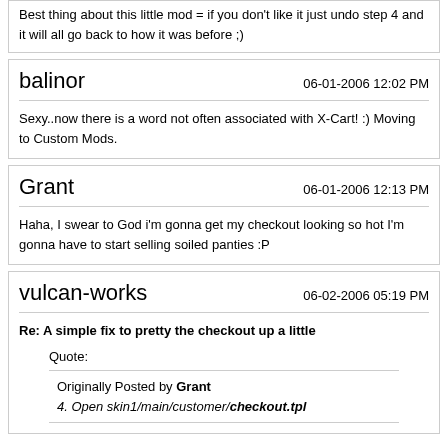Best thing about this little mod = if you don't like it just undo step 4 and it will all go back to how it was before ;)
balinor   06-01-2006 12:02 PM
Sexy..now there is a word not often associated with X-Cart! :) Moving to Custom Mods.
Grant   06-01-2006 12:13 PM
Haha, I swear to God i'm gonna get my checkout looking so hot I'm gonna have to start selling soiled panties :P
vulcan-works   06-02-2006 05:19 PM
Re: A simple fix to pretty the checkout up a little
Quote:
Originally Posted by Grant
4. Open skin1/main/customer/checkout.tpl